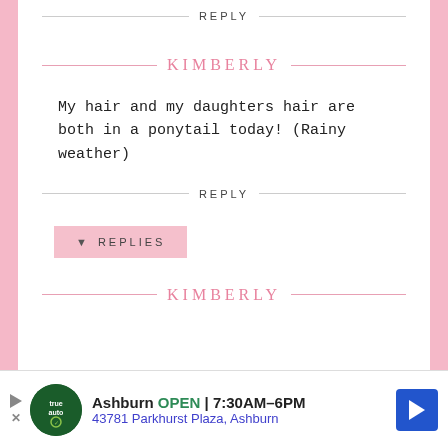REPLY
KIMBERLY
My hair and my daughters hair are both in a ponytail today! (Rainy weather)
REPLY
▾ REPLIES
KIMBERLY
[Figure (other): Advertisement banner: True Auto logo, Ashburn OPEN 7:30AM-6PM, 43781 Parkhurst Plaza Ashburn, navigation arrow icon]